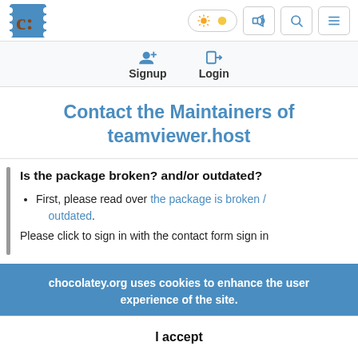[Figure (logo): Chocolatey logo - brown C on blue background resembling a ticket/stamp]
Navigation bar with theme toggle, megaphone icon, search icon, and menu icon
Signup  Login
Contact the Maintainers of teamviewer.host
Is the package broken? and/or outdated?
First, please read over the package is broken / outdated.
chocolatey.org uses cookies to enhance the user experience of the site.
I accept